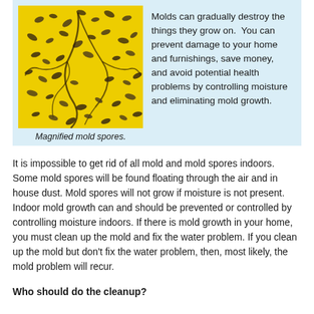[Figure (photo): Microscopic image of magnified mold spores on a yellow background, showing dark spore clusters and filaments.]
Magnified mold spores.
Molds can gradually destroy the things they grow on.  You can prevent damage to your home and furnishings, save money, and avoid potential health problems by controlling moisture and eliminating mold growth.
It is impossible to get rid of all mold and mold spores indoors. Some mold spores will be found floating through the air and in house dust. Mold spores will not grow if moisture is not present. Indoor mold growth can and should be prevented or controlled by controlling moisture indoors. If there is mold growth in your home, you must clean up the mold and fix the water problem. If you clean up the mold but don't fix the water problem, then, most likely, the mold problem will recur.
Who should do the cleanup?